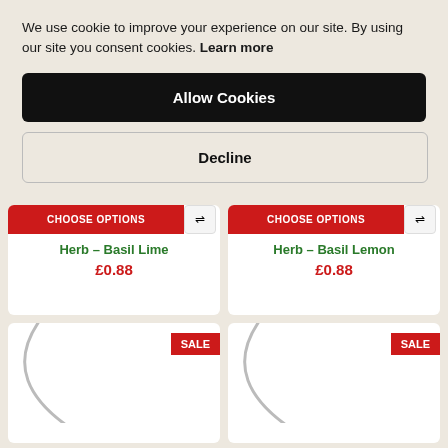We use cookie to improve your experience on our site. By using our site you consent cookies. Learn more
Allow Cookies
Decline
CHOOSE OPTIONS | Herb - Basil Lime | £0.88
CHOOSE OPTIONS | Herb - Basil Lemon | £0.88
[Figure (screenshot): Two product cards with SALE badges and loading arc placeholders for product images]
SALE